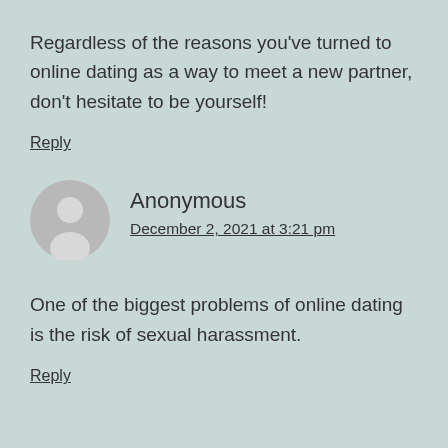Regardless of the reasons you've turned to online dating as a way to meet a new partner, don't hesitate to be yourself!
Reply
Anonymous
December 2, 2021 at 3:21 pm
One of the biggest problems of online dating is the risk of sexual harassment.
Reply